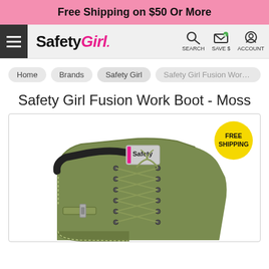Free Shipping on $50 Or More
[Figure (logo): Safety Girl logo with hamburger menu, search, save $, and account icons in navigation header]
Home
Brands
Safety Girl
Safety Girl Fusion Work Boot -
Safety Girl Fusion Work Boot - Moss
[Figure (photo): Safety Girl Fusion Work Boot in moss (olive green) color, showing lace-up front, buckle detail, padded collar, and Safety Girl branded tongue label. FREE SHIPPING badge in yellow circle top right.]